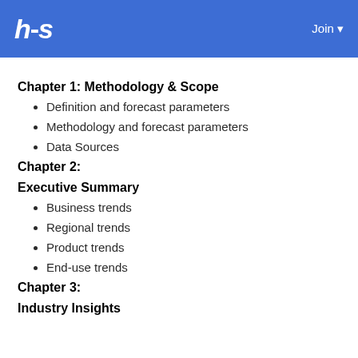hs  Join
Chapter 1: Methodology & Scope
Definition and forecast parameters
Methodology and forecast parameters
Data Sources
Chapter 2:
Executive Summary
Business trends
Regional trends
Product trends
End-use trends
Chapter 3:
Industry Insights